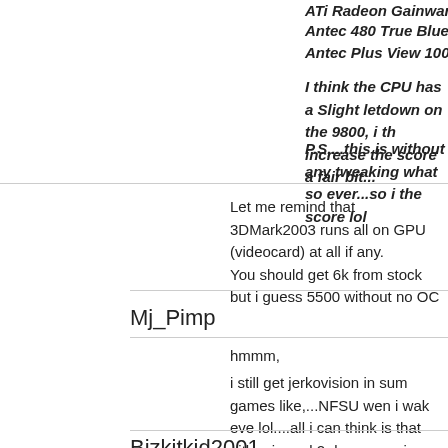ATi Radeon Gainward 128MB 9800 Pro
Antec 480 True Blue PSU
Antec Plus View 1000AMG Case
I think the CPU has a Slight letdown on the 9800, i th increase the score a fair bit...
P.S,...this is without any tweaking what so ever...so i the score lol
Let me remind that 3DMark2003 runs all on GPU (videocard) at all if any.
You should get 6k from stock but i guess 5500 without no OC
Mj_Pimp
hmmm,
i still get jerkovision in sum games like,...NFSU wen i wak eve lol....all i can think is that either i need 2 do sum major tweakin :confused:
Bizkitkid2001